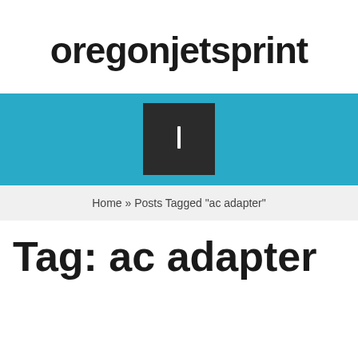oregonjetsprint
[Figure (screenshot): Blue navigation bar with a dark square icon containing a white vertical bar/menu icon in the center]
Home » Posts Tagged "ac adapter"
Tag: ac adapter